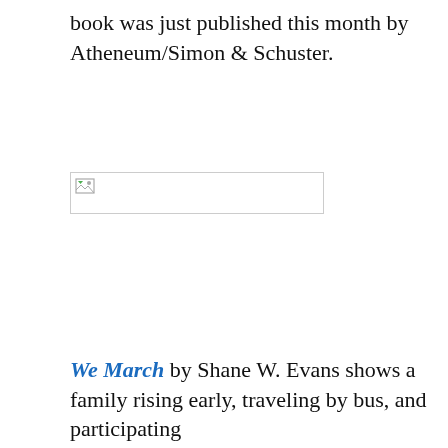book was just published this month by Atheneum/Simon & Schuster.
[Figure (photo): Broken/unloaded image placeholder with a small broken image icon in the top-left corner, displayed as a bordered rectangle]
We March by Shane W. Evans shows a family rising early, traveling by bus, and participating